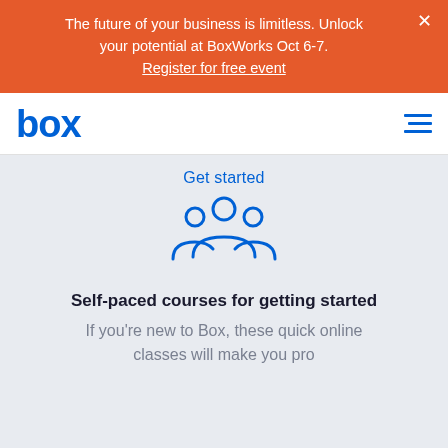The future of your business is limitless. Unlock your potential at BoxWorks Oct 6-7. Register for free event
[Figure (logo): Box logo in blue text]
Get started
[Figure (illustration): Blue outline icon of three people silhouettes representing a group/team]
Self-paced courses for getting started
If you're new to Box, these quick online classes will make you pro